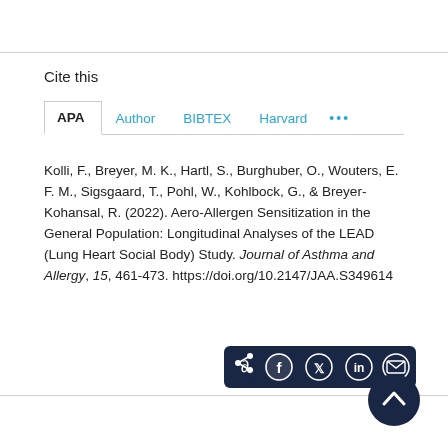Cite this
APA  Author  BIBTEX  Harvard  •••
Kolli, F., Breyer, M. K., Hartl, S., Burghuber, O., Wouters, E. F. M., Sigsgaard, T., Pohl, W., Kohlbock, G., & Breyer-Kohansal, R. (2022). Aero-Allergen Sensitization in the General Population: Longitudinal Analyses of the LEAD (Lung Heart Social Body) Study. Journal of Asthma and Allergy, 15, 461-473. https://doi.org/10.2147/JAA.S349614
[Figure (other): Social share bar with icons for share, Facebook, Twitter, LinkedIn, email, and a scroll-to-top button]